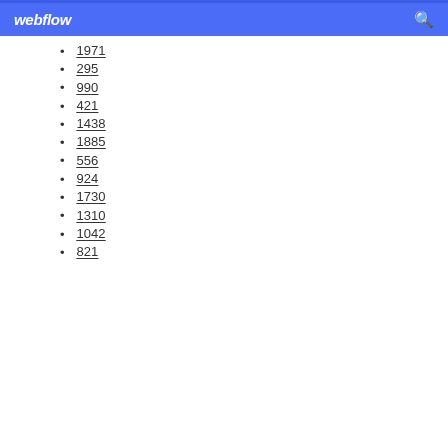webflow
1971
295
990
421
1438
1885
556
924
1730
1310
1042
821